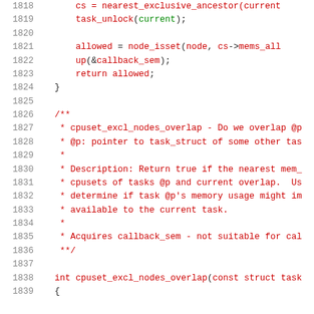[Figure (screenshot): Source code listing in a monospace code viewer showing lines 1818-1839 of a C source file with syntax highlighting. Line numbers in grey on the left, keywords and function names in red, string/variable references in green.]